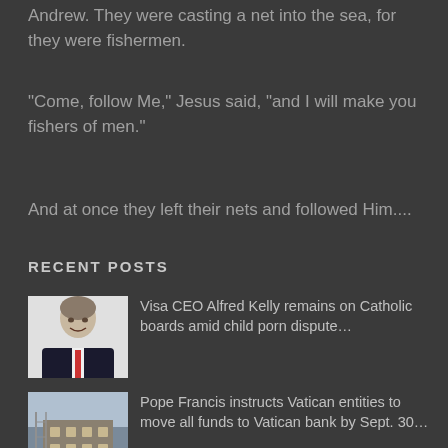Andrew. They were casting a net into the sea, for they were fishermen.
"Come, follow Me," Jesus said, "and I will make you fishers of men."
And at once they left their nets and followed Him....
RECENT POSTS
[Figure (photo): Headshot of a man in a suit with a red tie, smiling, white background]
Visa CEO Alfred Kelly remains on Catholic boards amid child porn dispute…
[Figure (photo): Photo of a Vatican building exterior with scaffolding]
Pope Francis instructs Vatican entities to move all funds to Vatican bank by Sept. 30…
[Figure (photo): Red-themed image, possibly cardinals or church ceremony]
What to expect at the three consistories in Rome this weekend